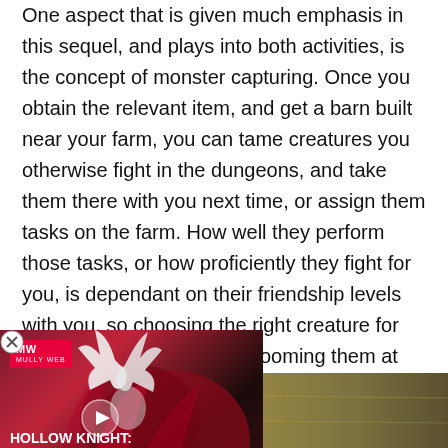One aspect that is given much emphasis in this sequel, and plays into both activities, is the concept of monster capturing. Once you obtain the relevant item, and get a barn built near your farm, you can tame creatures you otherwise fight in the dungeons, and take them there with you next time, or assign them tasks on the farm. How well they perform those tasks, or how proficiently they fight for you, is dependant on their friendship levels with you, so choosing the right creature for the job, and feeding and grooming them at regular intervals, is vital for their assistance. Some monsters, conveniently based on real world animals, also give materials and foods again, quality and quantity are statistic.
[Figure (other): Advertisement overlay for Hollow Knight: Silksong featuring MW (MullyWood) logo, a play button, and stylized artwork with text 'HOLLOW KNIGHT: SILKSONG EVERYTHING WE KNOW']
[Figure (photo): Thumbnail strip at bottom showing a golden/brown textured image, partially visible]